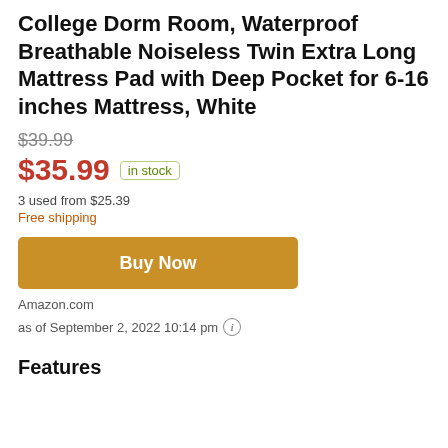College Dorm Room, Waterproof Breathable Noiseless Twin Extra Long Mattress Pad with Deep Pocket for 6-16 inches Mattress, White
$39.99
$35.99 in stock
3 used from $25.39
Free shipping
Buy Now
Amazon.com
as of September 2, 2022 10:14 pm
Features